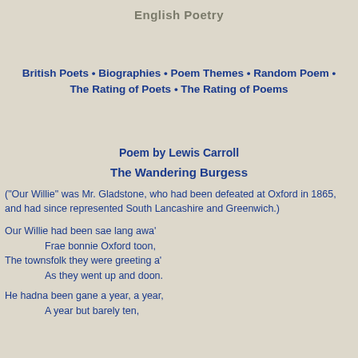English Poetry
British Poets • Biographies • Poem Themes • Random Poem • The Rating of Poets • The Rating of Poems
Poem by Lewis Carroll
The Wandering Burgess
("Our Willie" was Mr. Gladstone, who had been defeated at Oxford in 1865, and had since represented South Lancashire and Greenwich.)
Our Willie had been sae lang awa'
	Frae bonnie Oxford toon,
The townsfolk they were greeting a'
	As they went up and doon.

He hadna been gane a year, a year,
	A year but barely ten,